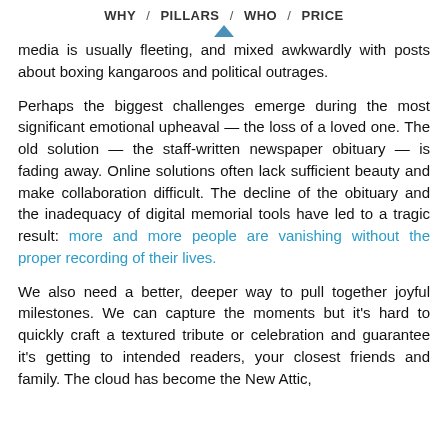WHY / PILLARS / WHO / PRICE
media is usually fleeting, and mixed awkwardly with posts about boxing kangaroos and political outrages.
Perhaps the biggest challenges emerge during the most significant emotional upheaval — the loss of a loved one. The old solution — the staff-written newspaper obituary — is fading away. Online solutions often lack sufficient beauty and make collaboration difficult. The decline of the obituary and the inadequacy of digital memorial tools have led to a tragic result: more and more people are vanishing without the proper recording of their lives.
We also need a better, deeper way to pull together joyful milestones. We can capture the moments but it's hard to quickly craft a textured tribute or celebration and guarantee it's getting to intended readers, your closest friends and family. The cloud has become the New Attic,